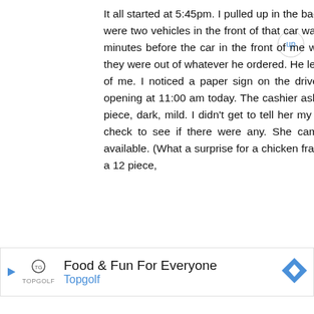It all started at 5:45pm. I pulled up in the back of a car waiting at the order booth. There were two vehicles in the front of that car waiting at the drive-up window. I waited for 11 minutes before the car in the front of me was asked for his order. The teller said that they were out of whatever he ordered. He left. So now there is only two vehicles in front of me. I noticed a paper sign on the drive-up order station stating that they will be opening at 11:00 am today. The cashier asked me for my order. I started to order a 12 piece, dark, mild. I didn't get to tell her my sides. She said to hold on so that she can check to see if there were any. She came back and said that there was chicken available. (What a surprise for a chicken franchise to have chicken available). I ordered a 12 piece,
[Figure (infographic): Advertisement banner for Topgolf with logo, text 'Food & Fun For Everyone' and 'Topgolf', and a blue diamond navigation arrow icon.]